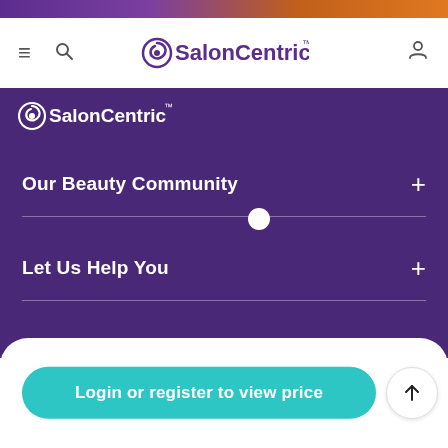[Figure (screenshot): SalonCentric website screenshot showing navigation bar with logo, purple footer section with collapsible menu items (Our Beauty Community, Let Us Help You, Ways To Shop), and a bottom bar with login/register button]
SalonCentric
Our Beauty Community
Let Us Help You
Ways To Shop
Login or register to view price